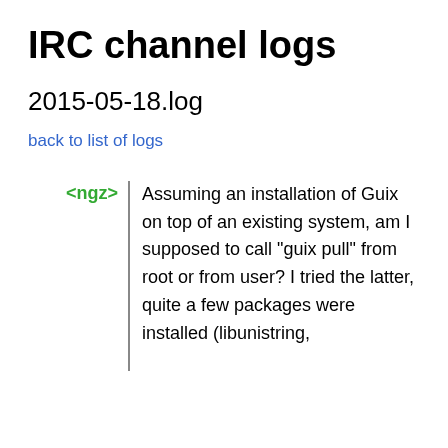IRC channel logs
2015-05-18.log
back to list of logs
<ngz>  Assuming an installation of Guix on top of an existing system, am I supposed to call "guix pull" from root or from user? I tried the latter, quite a few packages were installed (libunistring,